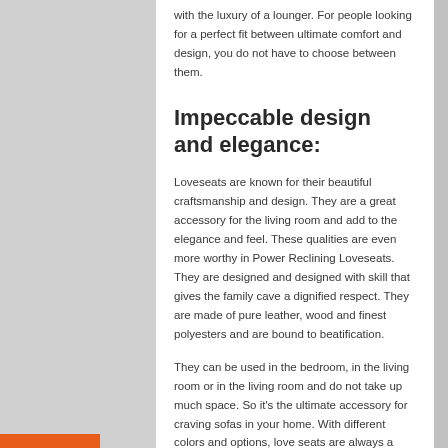with the luxury of a lounger. For people looking for a perfect fit between ultimate comfort and design, you do not have to choose between them.
Impeccable design and elegance:
Loveseats are known for their beautiful craftsmanship and design. They are a great accessory for the living room and add to the elegance and feel. These qualities are even more worthy in Power Reclining Loveseats. They are designed and designed with skill that gives the family cave a dignified respect. They are made of pure leather, wood and finest polyesters and are bound to beatification.
They can be used in the bedroom, in the living room or in the living room and do not take up much space. So it's the ultimate accessory for craving sofas in your home. With different colors and options, love seats are always a great option and are also breathtakingly crafted into reclining seats